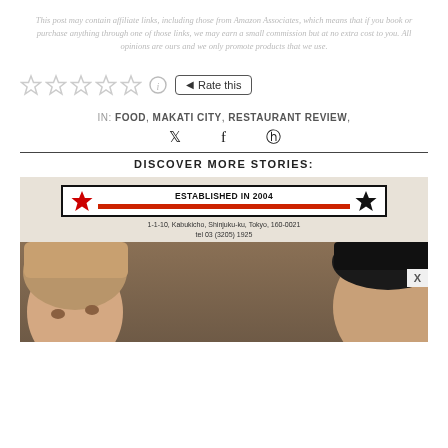This post may contain affiliate links, including those from Amazon Associates, which means that if you book or purchase anything through one of those links, we may earn a small commission but at no extra cost to you. All opinions are ours and we only promote products that we use.
[Figure (other): Five outline star rating icons followed by an info icon and a 'Rate this' button with left-arrow]
IN: FOOD, MAKATI CITY, RESTAURANT REVIEW,
Twitter, Facebook, Pinterest social share icons
DISCOVER MORE STORIES:
[Figure (photo): Photo of two people sitting inside a restaurant. Behind them is a sign reading 'ESTABLISHED IN 2004' with stars in red and black, and an address: 1-1-10, Kabukicho, Shinjuku-ku, Tokyo, 160-0021, tel 03 (3205) 1925. A close button X is visible in the bottom right.]